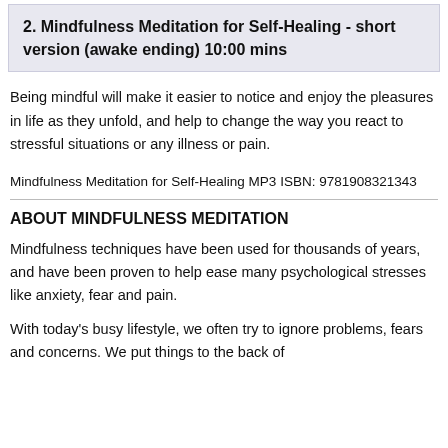2. Mindfulness Meditation for Self-Healing - short version (awake ending) 10:00 mins
Being mindful will make it easier to notice and enjoy the pleasures in life as they unfold, and help to change the way you react to stressful situations or any illness or pain.
Mindfulness Meditation for Self-Healing MP3 ISBN: 9781908321343
ABOUT MINDFULNESS MEDITATION
Mindfulness techniques have been used for thousands of years, and have been proven to help ease many psychological stresses like anxiety, fear and pain.
With today's busy lifestyle, we often try to ignore problems, fears and concerns. We put things to the back of